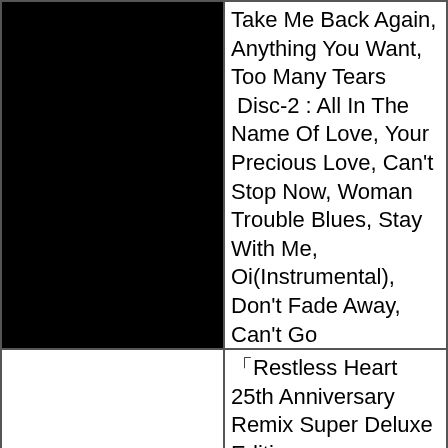[Figure (photo): Black rectangular image area, top-left cell]
Take Me Back Again, Anything You Want, Too Many Tears Disc-2 : All In The Name Of Love, Your Precious Love, Can't Stop Now, Woman Trouble Blues, Stay With Me, Oi(Instrumental), Don't Fade Away, Can't Go On(Unzipped)
[Figure (photo): White rectangular image area, middle-left cell]
「Restless Heart 25th Anniversary Remix Super Deluxe Edition」 Disc-1 : 2021 Remix Disc-2 : 2021 Remaster Disc-3 : Dancing On The Titanic Disc-4 : Evolution DVD :  DVD-Video
[Figure (photo): Black rectangular image area, bottom-left cell]
「Too Many Tears」 Too Many Tears - Part I (Album Version), Can't Stop Now, Too Many Tears - Part II